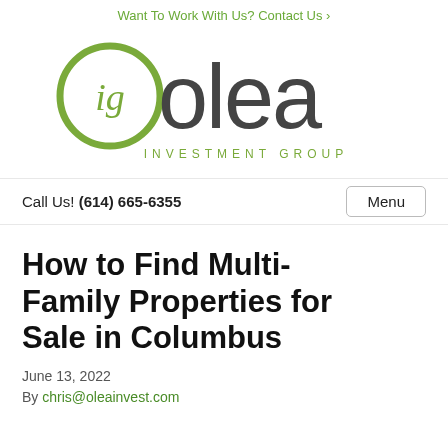Want To Work With Us? Contact Us >
[Figure (logo): Olea Investment Group logo — green circle with cursive 'ig' on left, large 'olea' in dark grey on right, 'INVESTMENT GROUP' in spaced caps below]
Call Us! (614) 665-6355    Menu
How to Find Multi-Family Properties for Sale in Columbus
June 13, 2022
By chris@oleainvest.com